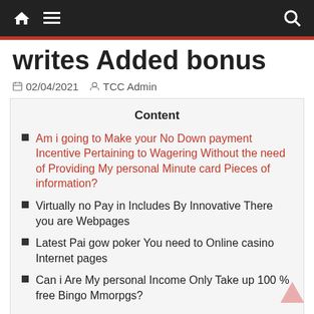Navigation bar with home, menu, and search icons
writes Added bonus
02/04/2021   TCC Admin
Content
Am i going to Make your No Down payment Incentive Pertaining to Wagering Without the need of Providing My personal Minute card Pieces of information?
Virtually no Pay in Includes By Innovative There you are Webpages
Latest Pai gow poker You need to Online casino Internet pages
Can i Are My personal Income Only Take up 100 % free Bingo Mmorpgs?